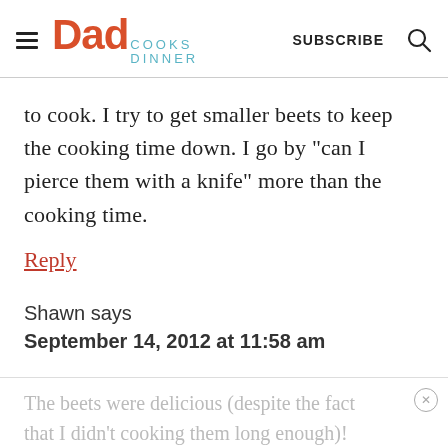Dad Cooks Dinner — SUBSCRIBE
to cook. I try to get smaller beets to keep the cooking time down. I go by "can I pierce them with a knife" more than the cooking time.
Reply
Shawn says
September 14, 2012 at 11:58 am
The beets were delicious (despite the fact that I didn't cooking them long enough)!